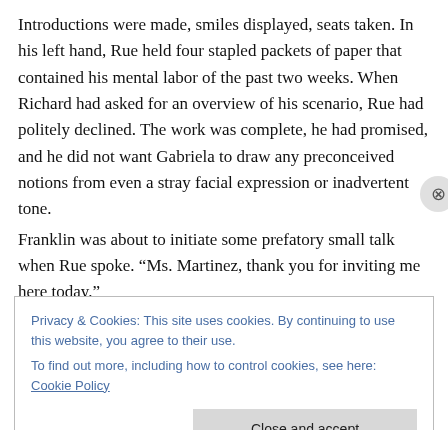Introductions were made, smiles displayed, seats taken. In his left hand, Rue held four stapled packets of paper that contained his mental labor of the past two weeks. When Richard had asked for an overview of his scenario, Rue had politely declined. The work was complete, he had promised, and he did not want Gabriela to draw any preconceived notions from even a stray facial expression or inadvertent tone.
Franklin was about to initiate some prefatory small talk when Rue spoke. “Ms. Martinez, thank you for inviting me here today.”
Privacy & Cookies: This site uses cookies. By continuing to use this website, you agree to their use.
To find out more, including how to control cookies, see here: Cookie Policy
Close and accept